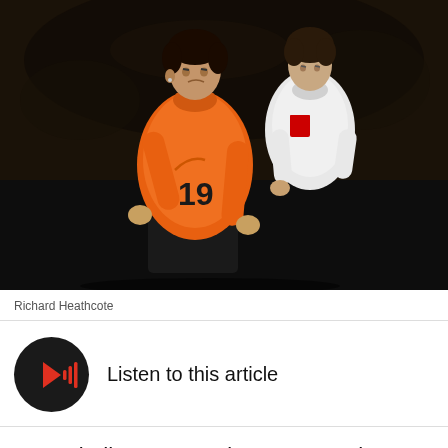[Figure (photo): Two football players during a match — one wearing an orange Dutch national team jersey with number 19, another in a white jersey with what appears to be an Austrian national team crest. Dark stadium background.]
Richard Heathcote
Listen to this article
PSV Eindhoven's Kevin Strootman has been one of the most heavily linked players with Manchester United